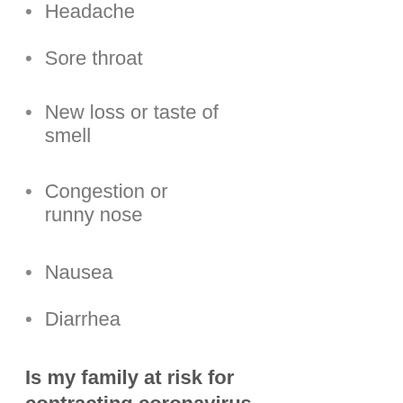Headache
Sore throat
New loss or taste of smell
Congestion or runny nose
Nausea
Diarrhea
Is my family at risk for contracting coronavirus disease 2019?
How easily a virus